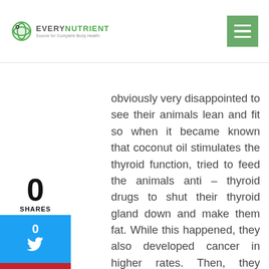Every Nutrient — Source for Complete Body Health
obviously very disappointed to see their animals lean and fit so when it became known that coconut oil stimulates the thyroid function, tried to feed the animals anti – thyroid drugs to shut their thyroid gland down and make them fat. While this happened, they also developed cancer in higher rates. Then, they realized that they could have the fattening result without the cancer if they just fed their livestock with soy bean and corn! So now you have